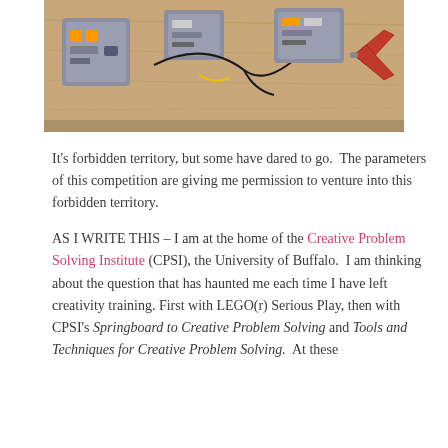[Figure (photo): Photograph of LEGO Mindstorms or electronic components (grey brick modules, wires, pliers) laid out on a wooden table surface.]
It's forbidden territory, but some have dared to go.  The parameters of this competition are giving me permission to venture into this forbidden territory.
AS I WRITE THIS – I am at the home of the Creative Problem Solving Institute (CPSI), the University of Buffalo.  I am thinking about the question that has haunted me each time I have left creativity training.  First with LEGO(r) Serious Play, then with CPSI's Springboard to Creative Problem Solving and Tools and Techniques for Creative Problem Solving.  At these